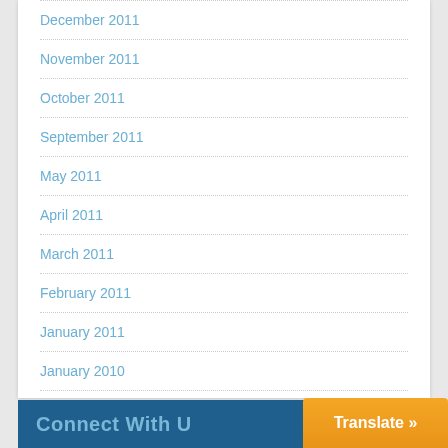December 2011
November 2011
October 2011
September 2011
May 2011
April 2011
March 2011
February 2011
January 2011
January 2010
Connect With Us
Translate »